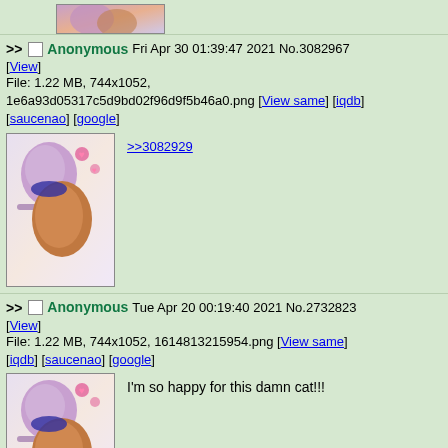[Figure (illustration): Top partial anime illustration thumbnail]
>> Anonymous Fri Apr 30 01:39:47 2021 No.3082967
[View]
File: 1.22 MB, 744x1052, 1e6a93d05317c5d9bd02f96d9f5b46a0.png [View same] [iqdb]
[saucenao] [google]
[Figure (illustration): Anime illustration of two characters hugging, one with purple hair and one with brown hair, with hearts in background]
>>3082929
>> Anonymous Tue Apr 20 00:19:40 2021 No.2732823
[View]
File: 1.22 MB, 744x1052, 1614813215954.png [View same]
[iqdb] [saucenao] [google]
[Figure (illustration): Same anime illustration of two characters hugging]
I'm so happy for this damn cat!!!